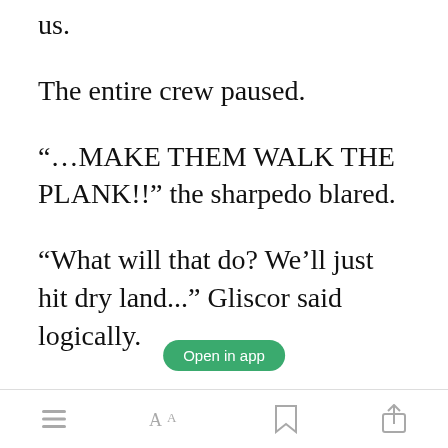us.
The entire crew paused.
"…MAKE THEM WALK THE PLANK!!" the sharpedo blared.
"What will that do? We'll just hit dry land..." Gliscor said logically.
"Y-YARG! I'LL SKEWER YE!!" the shark responded angrily.
Open in app